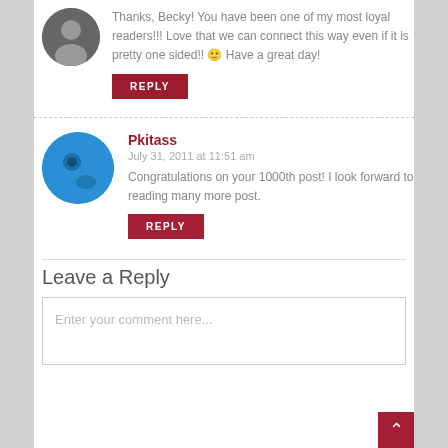Thanks, Becky! You have been one of my most loyal readers!!! Love that we can connect this way even if it is pretty one sided!! 🙂 Have a great day!
REPLY
Pkitass
July 31, 2011 at 11:51 am
Congratulations on your 1000th post! I look forward to reading many more post.
REPLY
Leave a Reply
Enter your comment here...